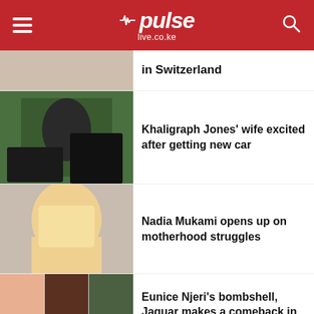pulse live.co.ke
in Switzerland
Khaligraph Jones' wife excited after getting new car
Nadia Mukami opens up on motherhood struggles
Eunice Njeri's bombshell, Jaguar makes a comeback in music & other stories on #PulseUhondoMtaani